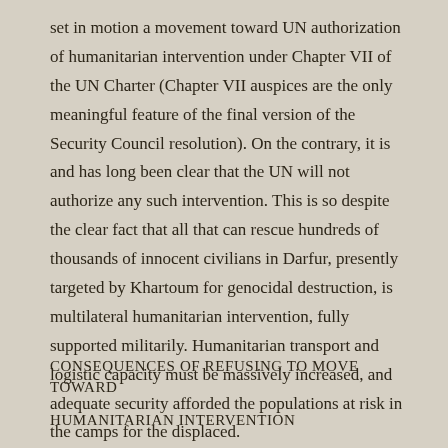set in motion a movement toward UN authorization of humanitarian intervention under Chapter VII of the UN Charter (Chapter VII auspices are the only meaningful feature of the final version of the Security Council resolution). On the contrary, it is and has long been clear that the UN will not authorize any such intervention. This is so despite the clear fact that all that can rescue hundreds of thousands of innocent civilians in Darfur, presently targeted by Khartoum for genocidal destruction, is multilateral humanitarian intervention, fully supported militarily. Humanitarian transport and logistic capacity must be massively increased, and adequate security afforded the populations at risk in the camps for the displaced.
CONSEQUENCES OF REFUSING TO MOVE TOWARD
HUMANITARIAN INTERVENTION